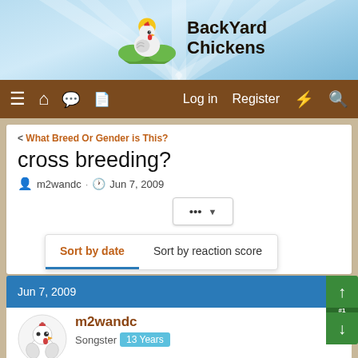[Figure (screenshot): BackYard Chickens website header with chicken logo and site name]
BackYard Chickens
≡ 🏠 💬 📄   Log in   Register   ⚡   🔍
< What Breed Or Gender is This?
cross breeding?
m2wandc · Jun 7, 2009
... ▼
Sort by date   Sort by reaction score
Jun 7, 2009
m2wandc
Songster   13 Years
I have 1 barred rock, 1 buff orpington & 2 silikies